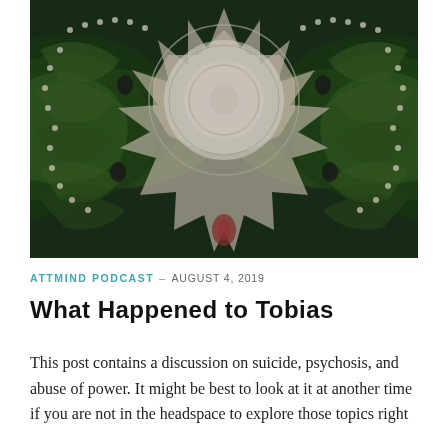[Figure (illustration): Psychedelic fractal mandala image with dark green swirling patterns and a central geometric star shape with concentric white/grey circles, symmetrical butterfly-like composition]
ATTMIND PODCAST – AUGUST 4, 2019
WHAT HAPPENED TO TOBIAS
This post contains a discussion on suicide, psychosis, and abuse of power. It might be best to look at it at another time if you are not in the headspace to explore those topics right